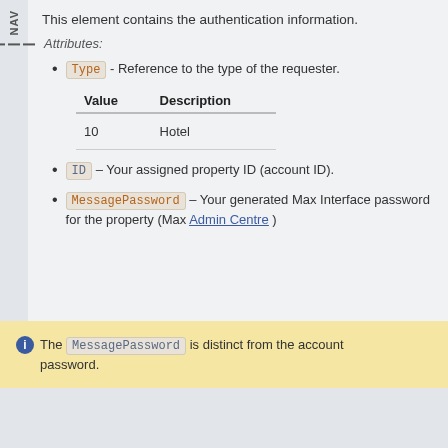This element contains the authentication information.
Attributes:
Type - Reference to the type of the requester.
| Value | Description |
| --- | --- |
| 10 | Hotel |
ID – Your assigned property ID (account ID).
MessagePassword – Your generated Max Interface password for the property (Max Admin Centre )
The MessagePassword is distinct from the account password.